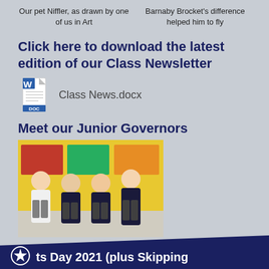Our pet Niffler, as drawn by one of us in Art
Barnaby Brocket's difference helped him to fly
Click here to download the latest edition of our Class Newsletter
[Figure (other): Word document icon with text Class News.docx]
Meet our Junior Governors
[Figure (photo): Photo of four school children in uniform standing in front of yellow and coloured boards]
ts Day 2021 (plus Skipping